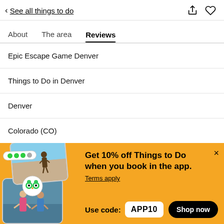< See all things to do
About  The area  Reviews
Epic Escape Game Denver
Things to Do in Denver
Denver
Colorado (CO)
[Figure (screenshot): Promotional banner with yellow background showing app discount offer. Text: Get 10% off Things to Do when you book in the app. Terms apply. Use code: APP10. Shop now button.]